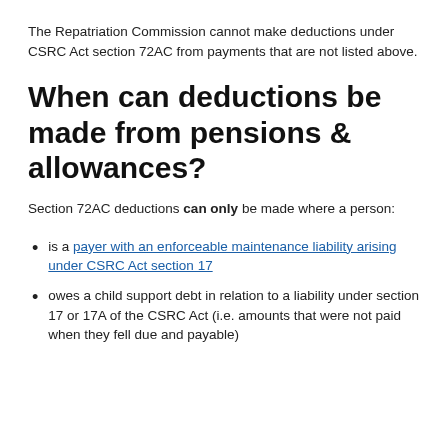The Repatriation Commission cannot make deductions under CSRC Act section 72AC from payments that are not listed above.
When can deductions be made from pensions & allowances?
Section 72AC deductions can only be made where a person:
is a payer with an enforceable maintenance liability arising under CSRC Act section 17
owes a child support debt in relation to a liability under section 17 or 17A of the CSRC Act (i.e. amounts that were not paid when they fell due and payable)